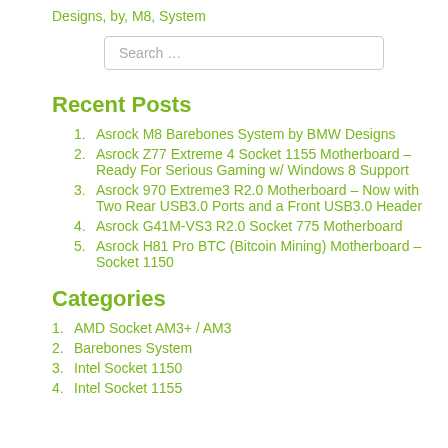Designs, by, M8, System
Search ...
Recent Posts
Asrock M8 Barebones System by BMW Designs
Asrock Z77 Extreme 4 Socket 1155 Motherboard – Ready For Serious Gaming w/ Windows 8 Support
Asrock 970 Extreme3 R2.0 Motherboard – Now with Two Rear USB3.0 Ports and a Front USB3.0 Header
Asrock G41M-VS3 R2.0 Socket 775 Motherboard
Asrock H81 Pro BTC (Bitcoin Mining) Motherboard – Socket 1150
Categories
AMD Socket AM3+ / AM3
Barebones System
Intel Socket 1150
Intel Socket 1155